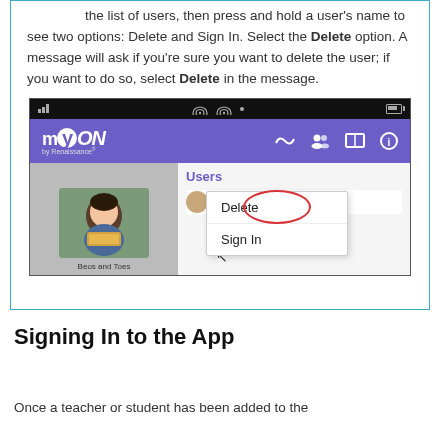the list of users, then press and hold a user's name to see two options: Delete and Sign In. Select the Delete option. A message will ask if you're sure you want to delete the user; if you want to do so, select Delete in the message.
[Figure (screenshot): myON app screenshot showing the Users panel with a context menu displaying 'Delete' (circled in red) and 'Sign In' options. The app has a purple navigation bar with myON logo and icons.]
Signing In to the App
Once a teacher or student has been added to the